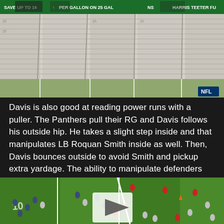[Figure (screenshot): NFL stadium interior with empty seats and scoreboard advertising (DAVE UP TO 1¢ PER GALLON ON 25 GALLONS, HARRIS TEETER FU...), view from field level looking at stands, NFL logo visible]
Davis is also good at reading power runs with a puller. The Panthers pull their RG and Davis follows his outside hip. He takes a slight step inside and that manipulates LB Roquan Smith inside as well. Then, Davis bounces outside to avoid Smith and pickup extra yardage. The ability to manipulate defenders and maximize yards is beautiful.
[Figure (screenshot): NFL football field aerial/broadcast view showing players on green turf with yard line markings (10 yard line visible), a play button overlay in center indicating video content, orange cones visible, red-shirted players and others scattered on field]